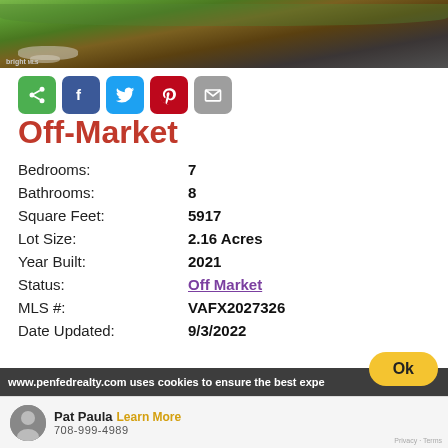[Figure (photo): Aerial or ground-level photo of landscaping with gravel border, soil mound, and green grass. 'bright mls' watermark visible at bottom left.]
Off-Market
| Property Detail | Value |
| --- | --- |
| Bedrooms: | 7 |
| Bathrooms: | 8 |
| Square Feet: | 5917 |
| Lot Size: | 2.16 Acres |
| Year Built: | 2021 |
| Status: | Off Market |
| MLS #: | VAFX2027326 |
| Date Updated: | 9/3/2022 |
www.penfedrealty.com uses cookies to ensure the best expe
Pat Paula  Learn More
Ok